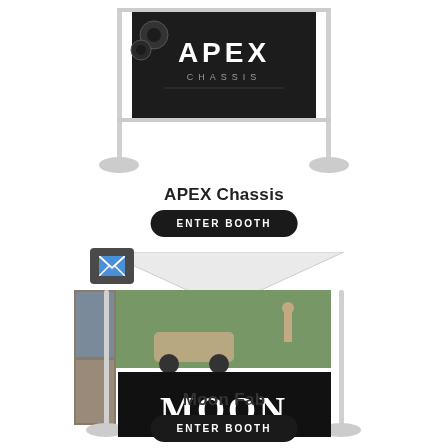[Figure (illustration): Trade show booth display for APEX Chassis brand, showing a banner stand with APEX CHASSIS logo on dark background, with poles and bases]
APEX Chassis
[Figure (illustration): Dark gray square button with white envelope/mail icon]
[Figure (illustration): Trade show tent booth for Moon Fab brand, showing a canopy tent with outdoor adventure photos and MOON text banner, with poles and bases]
Moon Fab